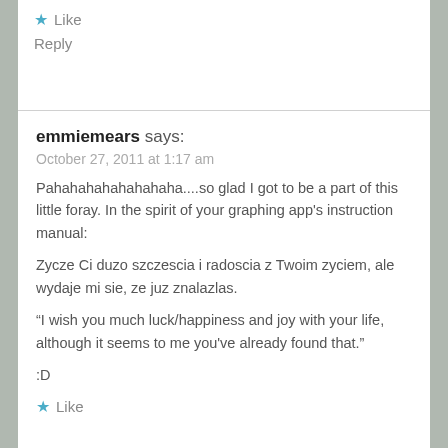★ Like
Reply
emmiemears says:
October 27, 2011 at 1:17 am
Pahahahahahahahaha....so glad I got to be a part of this little foray. In the spirit of your graphing app's instruction manual:
Zycze Ci duzo szczescia i radoscia z Twoim zyciem, ale wydaje mi sie, ze juz znalazlas.
“I wish you much luck/happiness and joy with your life, although it seems to me you've already found that.”
:D
★ Like